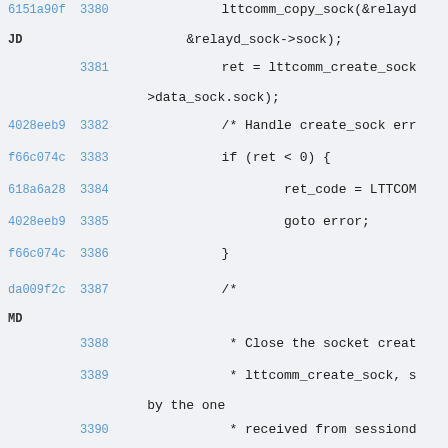6151a90f 3380   lttcomm_copy_sock(&relayd
JD            &relayd_sock->sock);
3381     ret = lttcomm_create_sock
              >data_sock.sock);
4028eeb9 3382   /* Handle create_sock err
f66c074c 3383   if (ret < 0) {
618a6a28 3384   ret_code = LTTCOM
4028eeb9 3385   goto error;
f66c074c 3386   }
da009f2c 3387   /*
MD
3388   * Close the socket creat
3389   * lttcomm_create_sock, s
              by the one
3390   * received from sessiond
3391   */
3392   if (close(relayd->data_so
3393   PERROR("close");